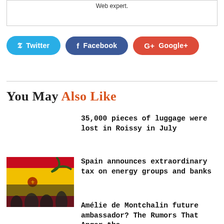Web expert.
[Figure (other): Social share buttons: Twitter (blue), Facebook (dark blue), Google+ (red)]
You May Also Like
35,000 pieces of luggage were lost in Roissy in July
[Figure (photo): People waving Spanish flag at an outdoor rally]
Spain announces extraordinary tax on energy groups and banks
Amélie de Montchalin future ambassador? The Rumors That Anger the